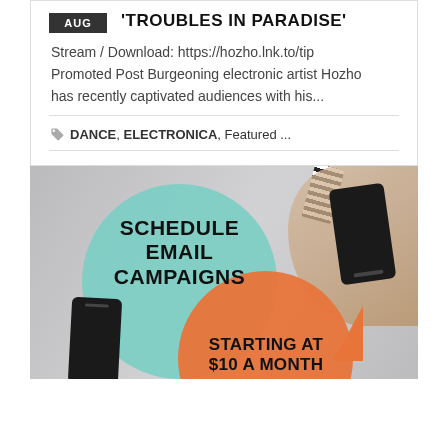'TROUBLES IN PARADISE'
Stream / Download: https://hozho.lnk.to/tip Promoted Post Burgeoning electronic artist Hozho has recently captivated audiences with his...
DANCE, ELECTRONICA, Featured ...
[Figure (infographic): Promotional infographic with teal and orange overlapping circles on a photo background showing hands holding smartphones. Text reads 'SCHEDULE EMAIL CAMPAIGNS' and 'STARTING AT $10 A MONTH']